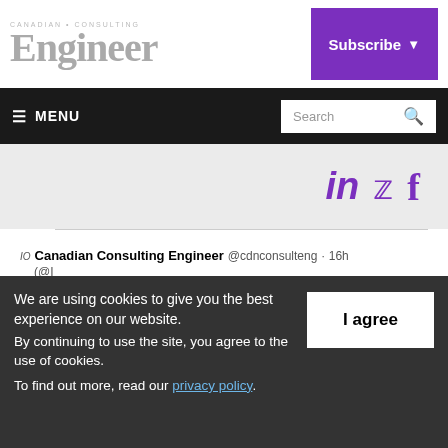Canadian Consulting Engineer
Subscribe
≡ MENU   Search
[Figure (screenshot): Social media icons: LinkedIn (in), Twitter bird, Facebook (f) in purple]
IO Canadian Consulting Engineer @cdnconsulteng · 16h (@InfraOntario) and @CHEO shortlist teams for #1Door4Care #healthcare centre project in Ottawa; learn which #engineering firms are in the running here: https://www.canadianconsultingengineer.com/engineering/io-
We are using cookies to give you the best experience on our website.
By continuing to use the site, you agree to the use of cookies.
To find out more, read our privacy policy.